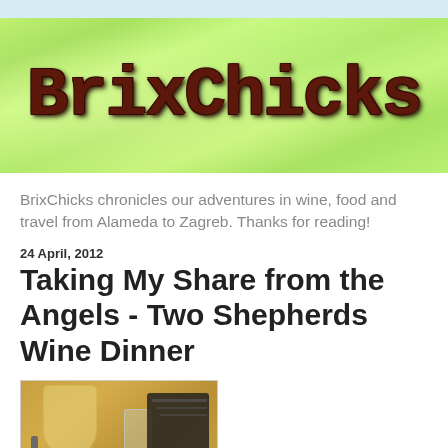[Figure (logo): BrixChicks blog logo with large decorative text on green textured background]
BrixChicks chronicles our adventures in wine, food and travel from Alameda to Zagreb. Thanks for reading!
24 April, 2012
Taking My Share from the Angels - Two Shepherds Wine Dinner
[Figure (photo): Photo of a wine glass with white wine on a wooden table, with a fork, notebook and water glass visible]